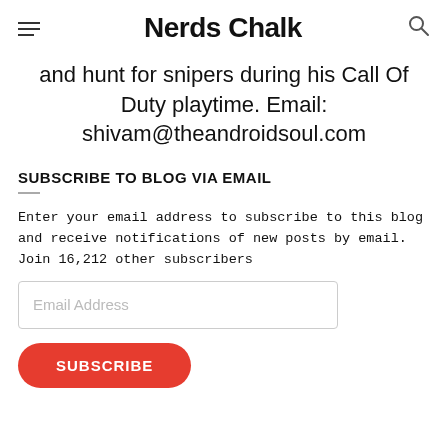Nerds Chalk
and hunt for snipers during his Call Of Duty playtime. Email: shivam@theandroidsoul.com
SUBSCRIBE TO BLOG VIA EMAIL
Enter your email address to subscribe to this blog and receive notifications of new posts by email.
Join 16,212 other subscribers
Email Address
SUBSCRIBE